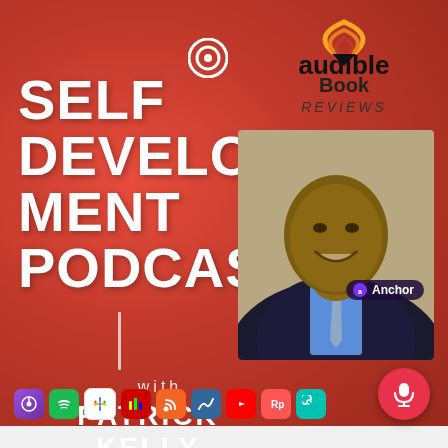[Figure (logo): Audible logo with orange/red swoosh icon above the word audible in black bold text]
SELF DEVELOPMENT PODCAST
with
PATRICK KELLY
Book REVIEWS
[Figure (photo): Professional headshot of a smiling African American man in a dark suit and blue shirt with a light blue patterned tie]
Anchor
[Figure (infographic): Row of platform icons: Apple Podcasts, Spotify, Google Podcasts, iHeartRadio, RSS, Podcast Addict, YouTube, Podchaser, Castro]